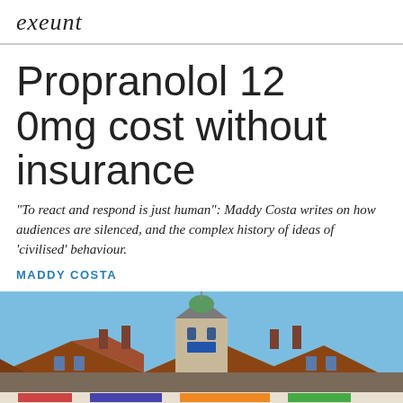exeunt
Propranolol 120mg cost without insurance
"To react and respond is just human": Maddy Costa writes on how audiences are silenced, and the complex history of ideas of 'civilised' behaviour.
MADDY COSTA
[Figure (photo): Photograph of a historic building with red-tiled roofs, chimneys, a central tower with a green dome and flagpole, against a blue sky. A crowd/banner is visible at the bottom.]